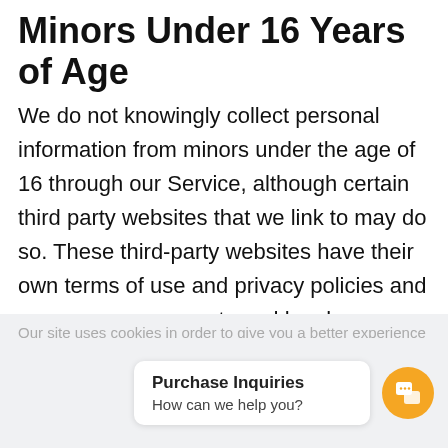Minors Under 16 Years of Age
We do not knowingly collect personal information from minors under the age of 16 through our Service, although certain third party websites that we link to may do so. These third-party websites have their own terms of use and privacy policies and we encourage parents and legal guardians to monitor their children’s Internet usage and instruct their children to never provide information on other websites without their permission
Our site uses cookies in order to give you a better experience on our
Purchase Inquiries
How can we help you?